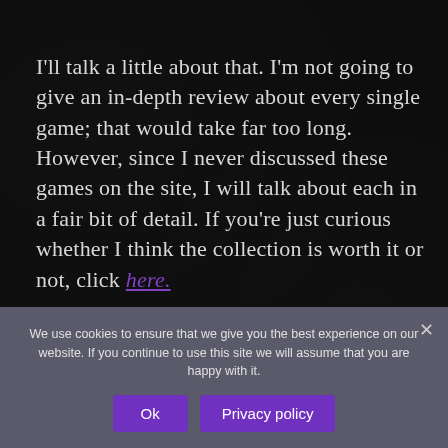I'll talk a little about that. I'm not going to give an in-depth review about every single game; that would take far too long. However, since I never discussed these games on the site, I will talk about each in a fair bit of detail. If you're just curious whether I think the collection is worth it or not, click here.
If you care about hearing my opinions, thank you, that means a lot. Let's get started.
We use cookies to ensure that we give you the best experience on our website. If you continue to use this site we will assume that you are happy with it.